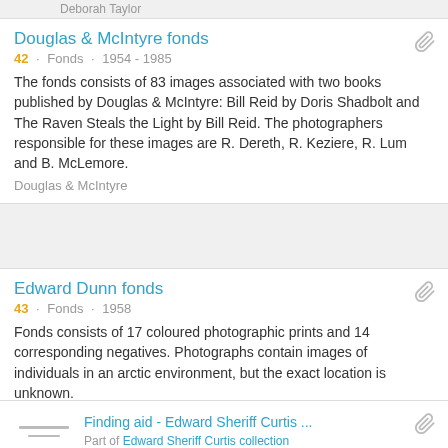Deborah Taylor
Douglas & McIntyre fonds
42 · Fonds · 1954 - 1985
The fonds consists of 83 images associated with two books published by Douglas & McIntyre: Bill Reid by Doris Shadbolt and The Raven Steals the Light by Bill Reid. The photographers responsible for these images are R. Dereth, R. Keziere, R. Lum and B. McLemore.
Douglas & McIntyre
Edward Dunn fonds
43 · Fonds · 1958
Fonds consists of 17 coloured photographic prints and 14 corresponding negatives. Photographs contain images of individuals in an arctic environment, but the exact location is unknown.
Edward C. Dunn
Finding aid - Edward Sheriff Curtis ...
Part of Edward Sheriff Curtis collection